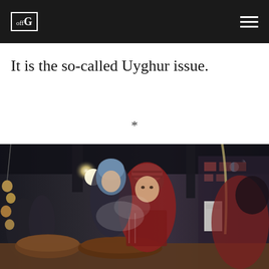offG
It is the so-called Uyghur issue.
*
[Figure (photo): People at an indoor market stall. A child in a red patterned jacket and brownish-red knit hat stands at a food stall with cooked food displayed. A woman in a hijab stands behind. The market is dimly lit with overhead lights, stalls and produce visible in the background.]